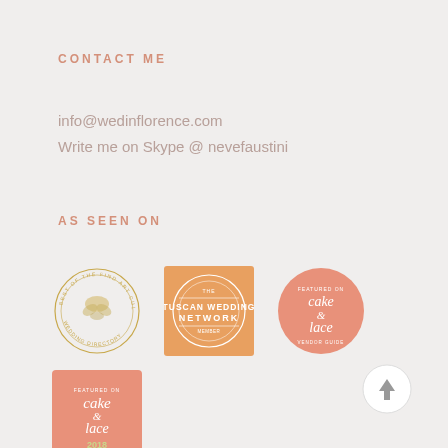CONTACT ME
info@wedinflorence.com
Write me on Skype @ nevefaustini
AS SEEN ON
[Figure (logo): Round gold circle badge with floral illustration and text 'Wedding Directory']
[Figure (logo): Orange square badge with circle inside reading 'The Tuscan Wedding Network']
[Figure (logo): Salmon/coral circle badge with script text 'cake and lace']
[Figure (logo): Salmon/coral square badge with script text 'cake and lace 2018']
[Figure (other): Round light gray button with upward arrow icon]